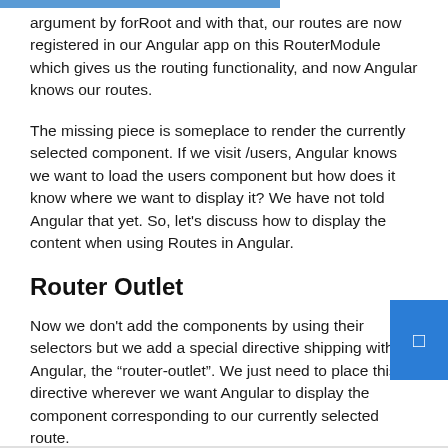argument by forRoot and with that, our routes are now registered in our Angular app on this RouterModule which gives us the routing functionality, and now Angular knows our routes.
The missing piece is someplace to render the currently selected component. If we visit /users, Angular knows we want to load the users component but how does it know where we want to display it? We have not told Angular that yet. So, let's discuss how to display the content when using Routes in Angular.
Router Outlet
Now we don't add the components by using their selectors but we add a special directive shipping with Angular, the "router-outlet". We just need to place this directive wherever we want Angular to display the component corresponding to our currently selected route.